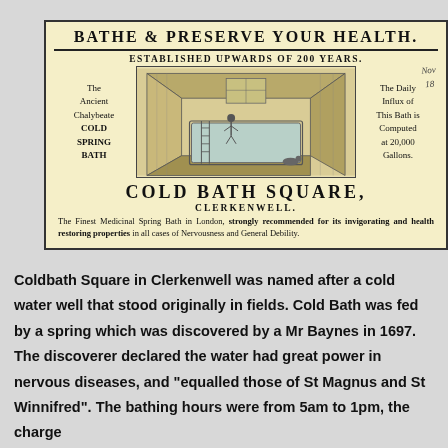[Figure (illustration): Victorian advertisement for Cold Bath Square, Clerkenwell. Features a headline 'BATHE & PRESERVE YOUR HEALTH.', subtitle 'ESTABLISHED UPWARDS OF 200 YEARS.', a central engraving of an indoor bath/swimming pool with high wooden walls and a ladder, flanked by left text describing 'The Ancient Chalybeate COLD SPRING BATH' and right text about 'The Daily Influx of This Bath is Computed at 20,000 Gallons.' Below the image: 'COLD BATH SQUARE, CLERKENWELL.' and a description of it being the Finest Medicinal Spring Bath in London. There is a handwritten annotation 'Nov 18' in the top right corner.]
Coldbath Square in Clerkenwell was named after a cold water well that stood originally in fields. Cold Bath was fed by a spring which was discovered by a Mr Baynes in 1697. The discoverer declared the water had great power in nervous diseases, and "equalled those of St Magnus and St Winnifred". The bathing hours were from 5am to 1pm, the charge